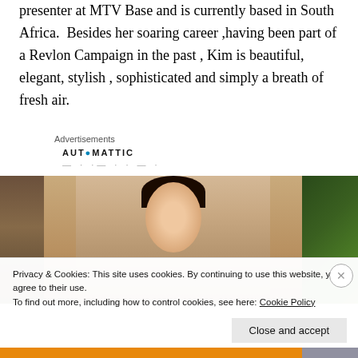presenter at MTV Base and is currently based in South Africa. Besides her soaring career ,having been part of a Revlon Campaign in the past , Kim is beautiful, elegant, stylish , sophisticated and simply a breath of fresh air.
Advertisements
AUTOMATTIC
[Figure (photo): Photo of a woman with dark hair sitting in front of rattan/bamboo chairs and green plants]
Privacy & Cookies: This site uses cookies. By continuing to use this website, you agree to their use.
To find out more, including how to control cookies, see here: Cookie Policy
Close and accept